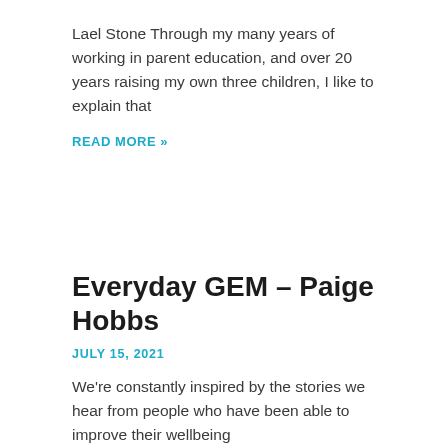Lael Stone Through my many years of working in parent education, and over 20 years raising my own three children, I like to explain that
READ MORE »
Everyday GEM – Paige Hobbs
JULY 15, 2021
We're constantly inspired by the stories we hear from people who have been able to improve their wellbeing